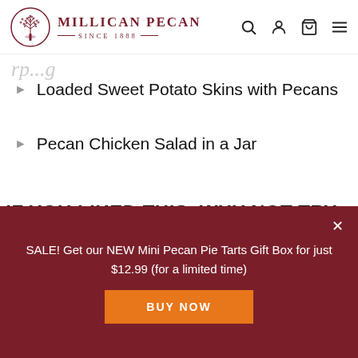[Figure (logo): Millican Pecan logo: circular tree emblem with text 'MILLICAN PECAN SINCE 1888' in dark red]
rp...g (partial cropped heading text at top)
Loaded Sweet Potato Skins with Pecans
Pecan Chicken Salad in a Jar
IF YOU LIKED THIS, WHY NOT TRY...
SALE! Get our NEW Mini Pecan Pie Tarts Gift Box for just $12.99 (for a limited time)
BUY NOW